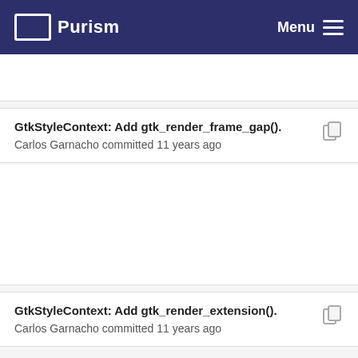Purism  Menu
GtkStyleContext: Add gtk_render_frame_gap().
Carlos Garnacho committed 11 years ago
GtkStyleContext: Add gtk_render_extension().
Carlos Garnacho committed 11 years ago